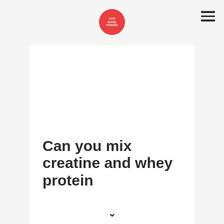GYM DAVID FITNESS
Can you mix creatine and whey protein